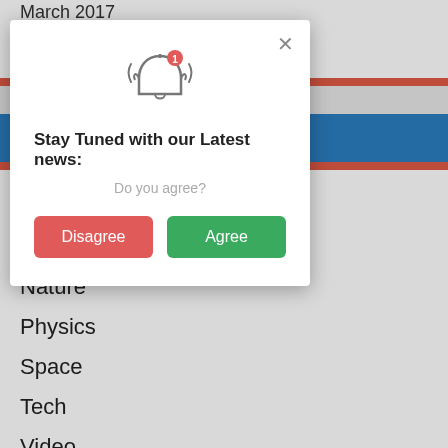March 2017
[Figure (screenshot): Modal dialog with notification bell icon, title 'Stay Tuned with our Latest news:', subtitle 'Do you agree?', and two buttons: Disagree (red) and Agree (green). Background shows colored bars (red, gray, blue) and a list of navigation items.]
Humans
Nature
Physics
Space
Tech
Video